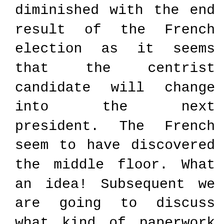diminished with the end result of the French election as it seems that the centrist candidate will change into the next president. The French seem to have discovered the middle floor. What an idea! Subsequent we are going to discuss what kind of paperwork you want for your home cleansing business. Historically, when the unemployment charge (green line) crosses the 36 month shifting average (brown line), it signifies the start of a recession (blue area). For the time being the brown line is at 6{f9acc719fbc08e2e4854cd82f7b6b81c 591c2978b5abc951b0c8025312ca57f3},